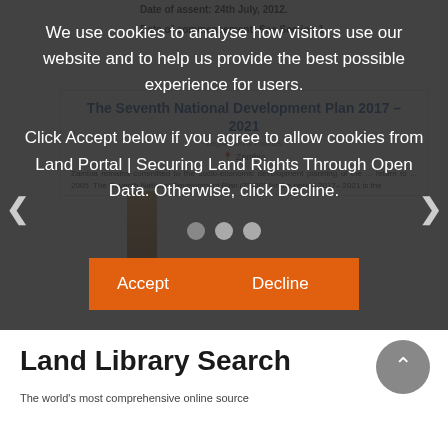Date of assent: 24th July, 2012.
Date of commencement: See Section 1.
The Seventh National Development Plan 2017 – 2021
Legislation & Policies
Zambia
Zambia remains committed to the socio-economic development planning of the ... return to ... 2005. The Seventh National Development Plan (7NDP) for the period 2017– 2021 is the
We use cookies to analyse how visitors use our website and to help us provide the best possible experience for users.

Click Accept below if you agree to allow cookies from Land Portal | Securing Land Rights Through Open Data. Otherwise, click Decline.
Accept
Decline
Land Library Search
The world's most comprehensive online source